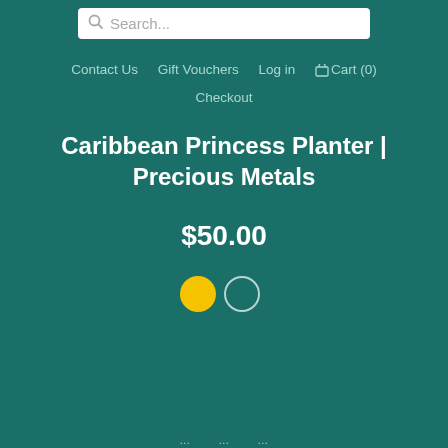Search...
Contact Us   Gift Vouchers   Log in   Cart (0)   Checkout
Caribbean Princess Planter | Precious Metals
$50.00
[Figure (other): Two color selector circles: one filled yellow (gold) and one empty/outline (white/silver)]
...